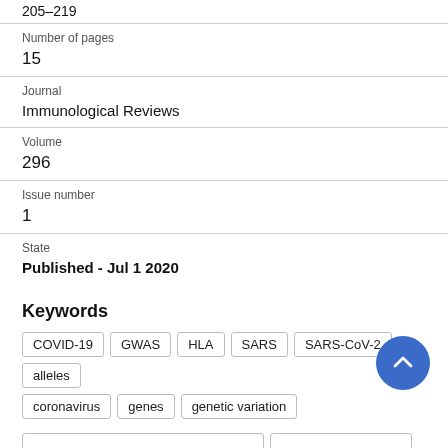205–219
Number of pages
15
Journal
Immunological Reviews
Volume
296
Issue number
1
State
Published - Jul 1 2020
Keywords
COVID-19
GWAS
HLA
SARS
SARS-CoV-2
alleles
coronavirus
genes
genetic variation